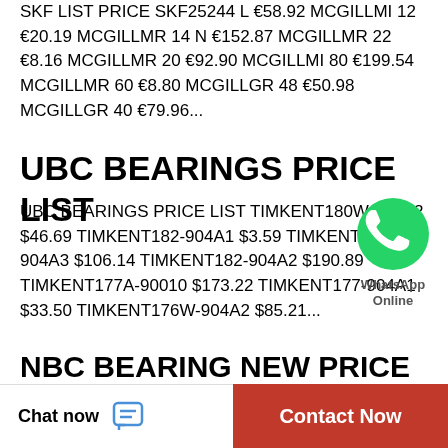SKF LIST PRICE SKF25244 L €58.92 MCGILLMI 12 €20.19 MCGILLMR 14 N €152.87 MCGILLMR 22 €8.16 MCGILLMR 20 €92.90 MCGILLMI 80 €199.54 MCGILLMR 60 €8.80 MCGILLGR 48 €50.98 MCGILLGR 40 €79.96...
UBC BEARINGS PRICE LIST
UBC BEARINGS PRICE LIST TIMKENT180W-904A2 $46.69 TIMKENT182-904A1 $3.59 TIMKENT188-904A3 $106.14 TIMKENT182-904A2 $190.89 TIMKENT177A-90010 $173.22 TIMKENT177-904A1 $33.50 TIMKENT176W-904A2 $85.21...
[Figure (logo): WhatsApp green circle icon with phone handset symbol, labeled WhatsApp Online]
NBC BEARING NEW PRICE LIST 2...
NBC BEARING NEW PRICE LIST 2021
Chat now | Contact Now